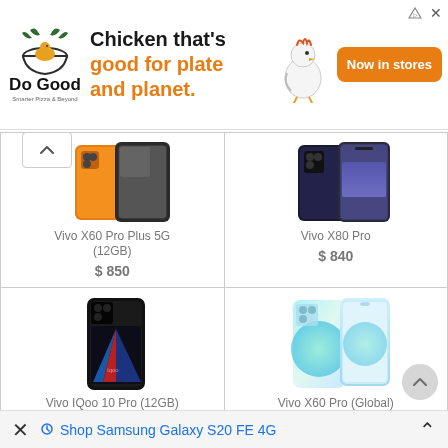[Figure (infographic): Do Good Chicken advertisement banner: logo with chicken in bowl, text 'Chicken that’s good for plate and planet.' in black and orange, chicken illustration, orange 'Now in stores' button]
[Figure (photo): Vivo X60 Pro Plus 5G (12GB) smartphone product image showing front and back views in orange and silver]
Vivo X60 Pro Plus 5G (12GB)
$ 850
[Figure (photo): Vivo X80 Pro smartphone product image showing front and back in dark color]
Vivo X80 Pro
$ 840
[Figure (photo): Vivo IQoo 10 Pro (12GB) smartphone product image showing front view with geometric light design on dark background]
Vivo IQoo 10 Pro (12GB)
$ 815
[Figure (photo): Vivo X60 Pro (Global) smartphone product image showing front and back in light blue/white gradient]
Vivo X60 Pro (Global)
$ 810
Shop Samsung Galaxy S20 FE 4G